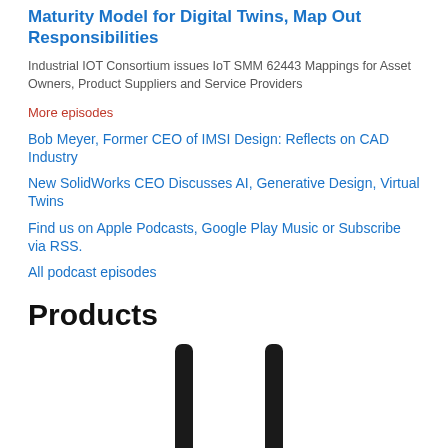Maturity Model for Digital Twins, Map Out Responsibilities
Industrial IOT Consortium issues IoT SMM 62443 Mappings for Asset Owners, Product Suppliers and Service Providers
More episodes
Bob Meyer, Former CEO of IMSI Design: Reflects on CAD Industry
New SolidWorks CEO Discusses AI, Generative Design, Virtual Twins
Find us on Apple Podcasts, Google Play Music or Subscribe via RSS.
All podcast episodes
Products
[Figure (photo): Two black antenna devices shown against white background, partially cropped]